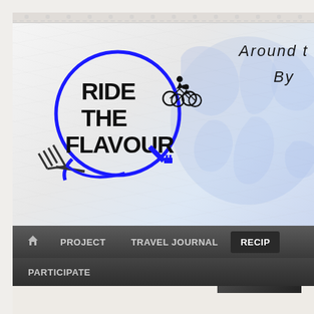[Figure (screenshot): Screenshot of the 'Ride the Flavour' website header showing logo with cyclists, blue circle, fork graphic, a world map graphic in blue, handwritten text 'Around t... By...' partially visible, and a dark navigation bar with items: home icon, PROJECT, TRAVEL JOURNAL, RECIPES (partially visible), and a sub-menu with PARTICIPATE.]
RIDE THE FLAVOUR
AROUND T...
BY...
PROJECT
TRAVEL JOURNAL
RECIP...
PARTICIPATE